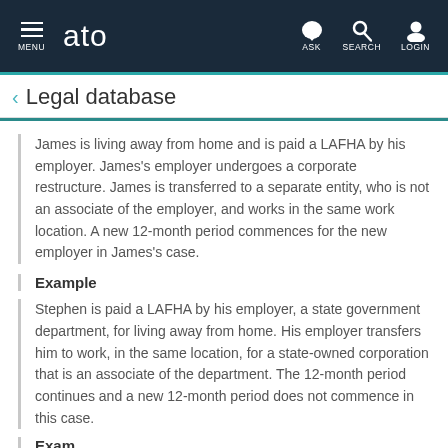MENU  ato  ASK  SEARCH  LOGIN
Legal database
James is living away from home and is paid a LAFHA by his employer. James's employer undergoes a corporate restructure. James is transferred to a separate entity, who is not an associate of the employer, and works in the same work location. A new 12-month period commences for the new employer in James's case.
Example
Stephen is paid a LAFHA by his employer, a state government department, for living away from home. His employer transfers him to work, in the same location, for a state-owned corporation that is an associate of the department. The 12-month period continues and a new 12-month period does not commence in this case.
Example